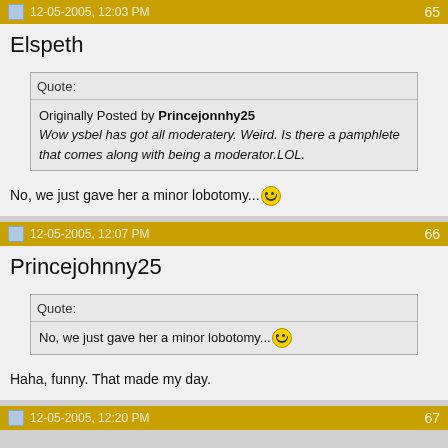12-05-2005, 12:03 PM  65
Elspeth
Quote:
Originally Posted by Princejonnhy25
Wow ysbel has got all moderatery. Weird. Is there a pamphlete that comes along with being a moderator.LOL.
No, we just gave her a minor lobotomy... 😊
12-05-2005, 12:07 PM  66
Princejohnny25
Quote:
No, we just gave her a minor lobotomy... 😊
Haha, funny. That made my day.
12-05-2005, 12:20 PM  67